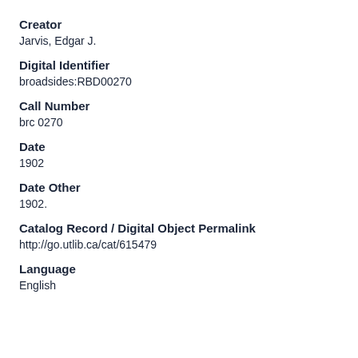Creator
Jarvis, Edgar J.
Digital Identifier
broadsides:RBD00270
Call Number
brc 0270
Date
1902
Date Other
1902.
Catalog Record / Digital Object Permalink
http://go.utlib.ca/cat/615479
Language
English